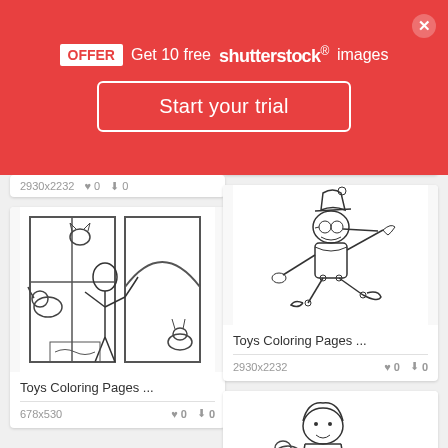OFFER Get 10 free shutterstock images
Start your trial
[Figure (illustration): Coloring page showing a girl waving in a pet shop window with various animals]
Toys Coloring Pages ...
678x530  ♥ 0  ⬇ 0
[Figure (illustration): Coloring page of Pinocchio character running with long nose]
Toys Coloring Pages ...
2930x2232  ♥ 0  ⬇ 0
[Figure (illustration): Coloring page of a girl with toys, partially visible]